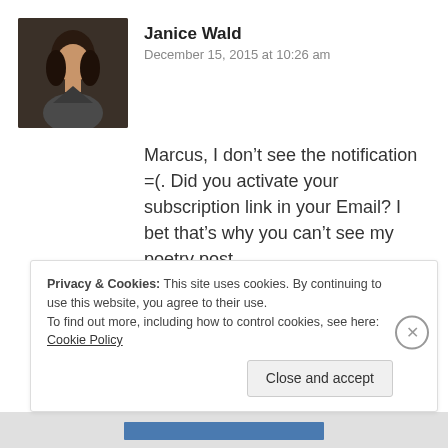[Figure (photo): Profile photo of Janice Wald, a woman with dark hair, against a dark background]
Janice Wald
December 15, 2015 at 10:26 am
Marcus, I don’t see the notification =(. Did you activate your subscription link in your Email? I bet that’s why you can’t see my poetry post.
Janice
★ Like
Privacy & Cookies: This site uses cookies. By continuing to use this website, you agree to their use.
To find out more, including how to control cookies, see here: Cookie Policy
Close and accept